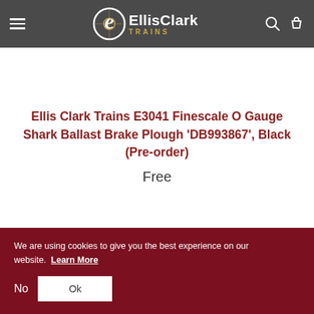Ellis Clark Trains
Ellis Clark Trains E3041 Finescale O Gauge Shark Ballast Brake Plough 'DB993867', Black (Pre-order)
Free
We are using cookies to give you the best experience on our website.  Learn More
No  Ok